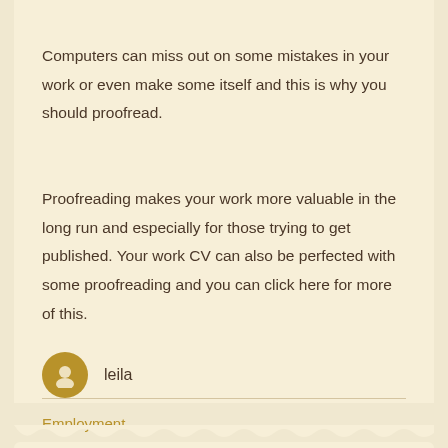Computers can miss out on some mistakes in your work or even make some itself and this is why you should proofread.
Proofreading makes your work more valuable in the long run and especially for those trying to get published. Your work CV can also be perfected with some proofreading and you can click here for more of this.
leila
Employment